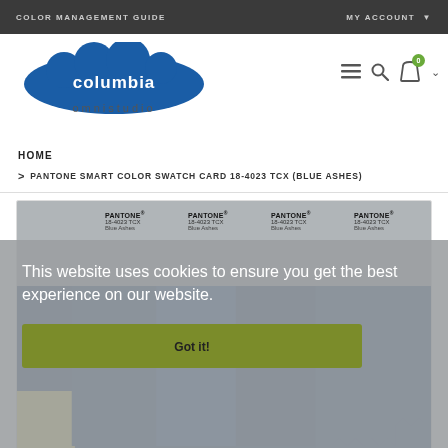COLOR MANAGEMENT GUIDE    MY ACCOUNT
[Figure (logo): Columbia Omnistudio logo — blue cloud shape with white text 'columbia' and grey text 'omnistudio' below]
HOME
> PANTONE SMART COLOR SWATCH CARD 18-4023 TCX (BLUE ASHES)
[Figure (photo): Pantone Smart Color Swatch Card 18-4023 TCX Blue Ashes — four fabric swatches labeled PANTONE 18-4023 TCX Blue Ashes, with dark blue fabric and a yellow swatch visible. Cookie consent overlay reading 'This website uses cookies to ensure you get the best experience on our website.' with a 'Got it!' button.]